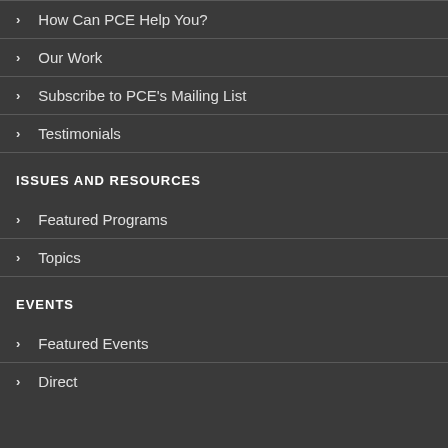How Can PCE Help You?
Our Work
Subscribe to PCE's Mailing List
Testimonials
ISSUES AND RESOURCES
Featured Programs
Topics
EVENTS
Featured Events
Direct